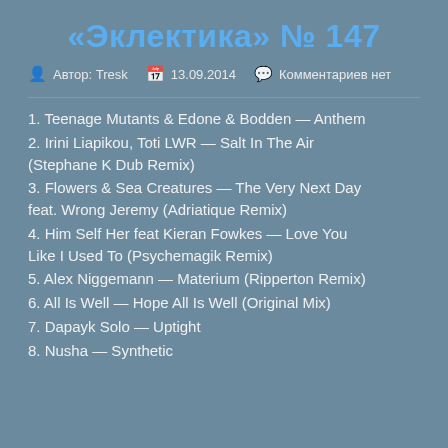«Эклектика» № 147
Автор: Tresk   13.09.2014   Комментариев нет
1. Teenage Mutants & Edone & Bodden — Anthem
2. Irini Liapikou, Toti LWR — Salt In The Air (Stephane K Dub Remix)
3. Flowers & Sea Creatures — The Very Next Day feat. Wrong Jeremy (Adriatique Remix)
4. Him Self Her feat Kieran Fowkes — Love You Like I Used To (Psychemagik Remix)
5. Alex Niggemann — Materium (Ripperton Remix)
6. All Is Well — Hope All Is Well (Original Mix)
7. Dapayk Solo — Uptight
8. Nusha — Synthetic